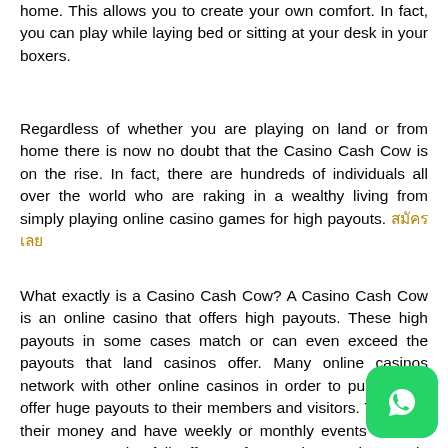home. This allows you to create your own comfort. In fact, you can play while laying bed or sitting at your desk in your boxers.
Regardless of whether you are playing on land or from home there is now no doubt that the Casino Cash Cow is on the rise. In fact, there are hundreds of individuals all over the world who are raking in a wealthy living from simply playing online casino games for high payouts. สมัครเลย
What exactly is a Casino Cash Cow? A Casino Cash Cow is an online casino that offers high payouts. These high payouts in some cases match or can even exceed the payouts that land casinos offer. Many online casinos network with other online casinos in order to pull pots to offer huge payouts to their members and visitors. They pull their money and have weekly or monthly events wherein you can see the full effects of a Casino Cash Cow in action.
[Figure (logo): WhatsApp button icon, green rounded square with white phone handset logo]